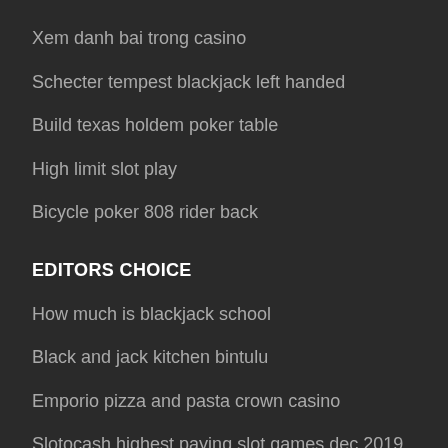Xem danh bai trong casino
Schecter tempest blackjack left handed
Build texas holdem poker table
High limit slot play
Bicycle poker 808 rider back
EDITORS CHOICE
How much is blackjack school
Black and jack kitchen bintulu
Emporio pizza and pasta crown casino
Slotocash highest paying slot games dec 2019